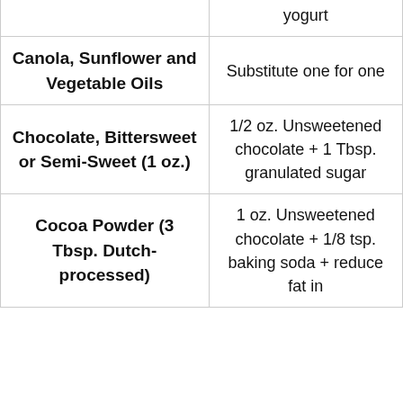| Ingredient | Substitution |
| --- | --- |
| (continued) | yogurt |
| Canola, Sunflower and Vegetable Oils | Substitute one for one |
| Chocolate, Bittersweet or Semi-Sweet (1 oz.) | 1/2 oz. Unsweetened chocolate + 1 Tbsp. granulated sugar |
| Cocoa Powder (3 Tbsp. Dutch-processed) | 1 oz. Unsweetened chocolate + 1/8 tsp. baking soda + reduce fat in |